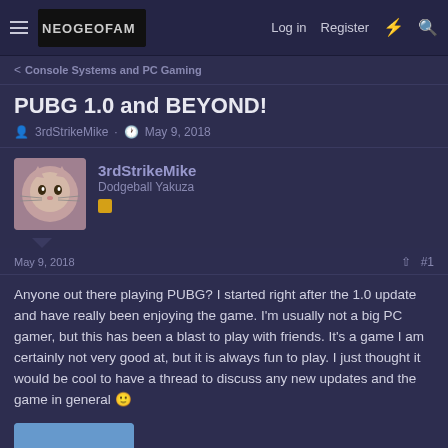NEOGEOFAM.COM — Log in  Register
< Console Systems and PC Gaming
PUBG 1.0 and BEYOND!
3rdStrikeMike · May 9, 2018
3rdStrikeMike
Dodgeball Yakuza
May 9, 2018   #1
Anyone out there playing PUBG? I started right after the 1.0 update and have really been enjoying the game. I'm usually not a big PC gamer, but this has been a blast to play with friends. It's a game I am certainly not very good at, but it is always fun to play. I just thought it would be cool to have a thread to discuss any new updates and the game in general 🙂
[Figure (photo): Photo of a person in winter gear, appearing to be on a mountain or snowy outdoor location, circular/rounded crop]